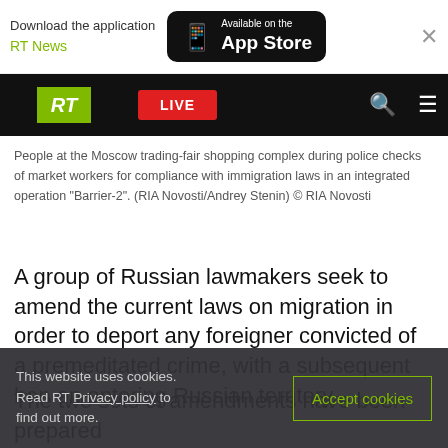Download the application RT News — Available on the App Store
[Figure (screenshot): RT website navigation bar with green RT logo, red LIVE button, search and menu icons on black background, above a photo strip of people at a market]
People at the Moscow trading-fair shopping complex during police checks of market workers for compliance with immigration laws in an integrated operation "Barrier-2". (RIA Novosti/Andrey Stenin) © RIA Novosti
A group of Russian lawmakers seek to amend the current laws on migration in order to deport any foreigner convicted of a premeditated crime, with a subsequent ban on entering Russian territory.
The two sets of amendments have been prepared
This website uses cookies. Read RT Privacy policy to find out more.